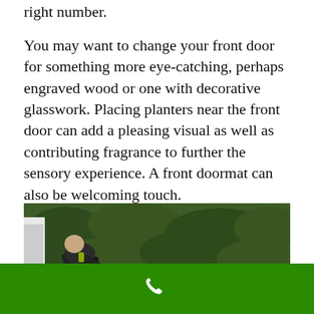right number.
You may want to change your front door for something more eye-catching, perhaps engraved wood or one with decorative glasswork. Placing planters near the front door can add a pleasing visual as well as contributing fragrance to further the sensory experience. A front doormat can also be welcoming touch.
[Figure (photo): A person in dark clothing bending over and working near green hedges/grass, holding equipment (hose or tool)]
[Figure (other): Green footer bar with a white telephone handset icon]